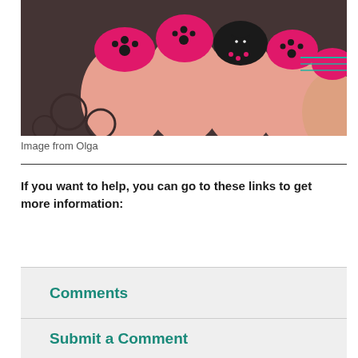[Figure (photo): Close-up photo of decorated nails with pink base color, black paw prints, and a black cartoon cat design on one nail, along with a black nail with pink paw prints.]
Image from Olga
If you want to help, you can go to these links to get more information:
Comments
Submit a Comment